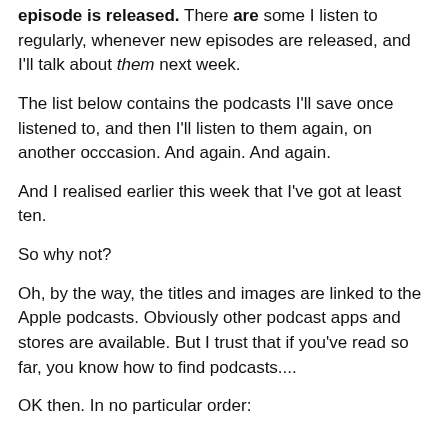episode is released. There are some I listen to regularly, whenever new episodes are released, and I'll talk about them next week.
The list below contains the podcasts I'll save once listened to, and then I'll listen to them again, on another occcasion. And again. And again.
And I realised earlier this week that I've got at least ten.
So why not?
Oh, by the way, the titles and images are linked to the Apple podcasts. Obviously other podcast apps and stores are available. But I trust that if you've read so far, you know how to find podcasts....
OK then. In no particular order: